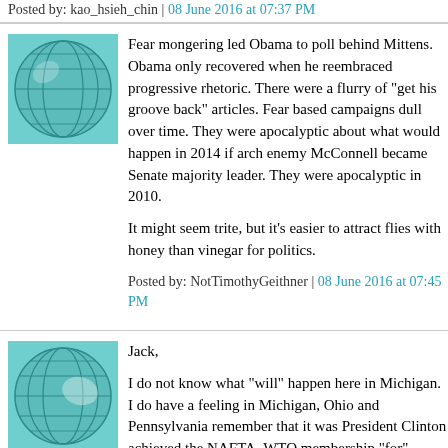Posted by: kao_hsieh_chin | 08 June 2016 at 07:37 PM
[Figure (illustration): Teal/green geometric globe avatar icon]
Fear mongering led Obama to poll behind Mittens. Obama only recovered when he reembraced progressive rhetoric. There were a flurry of "get his groove back" articles. Fear based campaigns dull over time. They were apocalyptic about what would happen in 2014 if arch enemy McConnell became Senate majority leader. They were apocalyptic in 2010.

It might seem trite, but it's easier to attract flies with honey than vinegar for politics.
Posted by: NotTimothyGeithner | 08 June 2016 at 07:45 PM
[Figure (illustration): Teal/green geometric globe avatar icon]
Jack,

I do not know what "will" happen here in Michigan. I do have a feeling in Michigan, Ohio and Pennsylvania remember that it was President Clinton achieved the NAFTA, WTO membership "for" America, MFN Status which have destroyed so many jobs in those three states from then. Trump will be shrewd enough to remind people of that all over again and fear about Bill Clinton influencing economic policy all over again.

Which will be a real question, because Hillary made it one when she said she put Bill Clinton in charge of "revitalizing the economy".